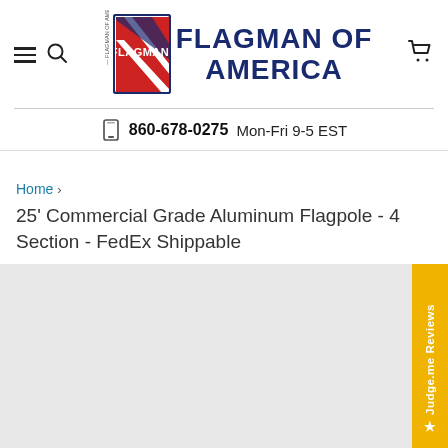[Figure (logo): Flagman of America logo with stylized flag graphic and blue bold text reading FLAGMAN OF AMERICA]
📞 860-678-0275  Mon-Fri 9-5 EST
Home › 25' Commercial Grade Aluminum Flagpole - 4 Section - FedEx Shippable
25' Commercial Grade Aluminum Flagpole - 4 Section - FedEx Shippable
[Figure (photo): Product image area (light gray placeholder) for 25 foot commercial grade aluminum flagpole]